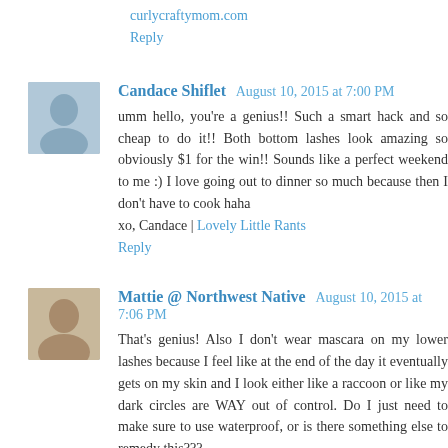curlycraftymom.com
Reply
Candace Shiflet August 10, 2015 at 7:00 PM
umm hello, you're a genius!! Such a smart hack and so cheap to do it!! Both bottom lashes look amazing so obviously $1 for the win!! Sounds like a perfect weekend to me :) I love going out to dinner so much because then I don't have to cook haha
xo, Candace | Lovely Little Rants
Reply
Mattie @ Northwest Native August 10, 2015 at 7:06 PM
That's genius! Also I don't wear mascara on my lower lashes because I feel like at the end of the day it eventually gets on my skin and I look either like a raccoon or like my dark circles are WAY out of control. Do I just need to make sure to use waterproof, or is there something else to remedy this???